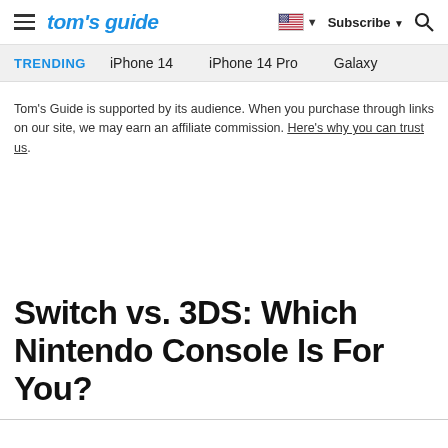tom's guide | Subscribe | Search
TRENDING  iPhone 14  iPhone 14 Pro  Galaxy
Tom's Guide is supported by its audience. When you purchase through links on our site, we may earn an affiliate commission. Here's why you can trust us.
Switch vs. 3DS: Which Nintendo Console Is For You?